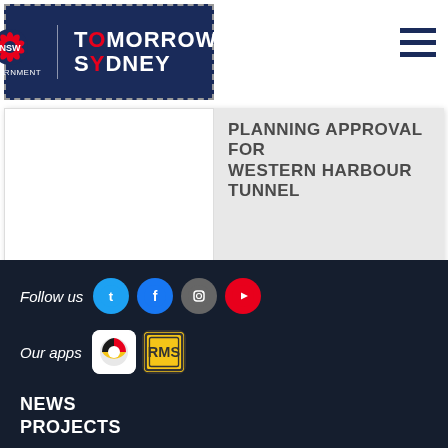[Figure (logo): NSW Government logo with lotus flower emblem and 'Tomorrow's Sydney' branding on dark navy background, dotted border]
[Figure (other): Hamburger menu icon (three horizontal navy lines)]
PLANNING APPROVAL FOR WESTERN HARBOUR TUNNEL
READ MORE >
Follow us
[Figure (other): Social media icons: Twitter (blue bird), Facebook (blue f), Instagram (camera), YouTube (red play)]
Our apps
[Figure (other): App icons: Chrome-style colorful icon and road sign yellow diamond icon]
NEWS
PROJECTS